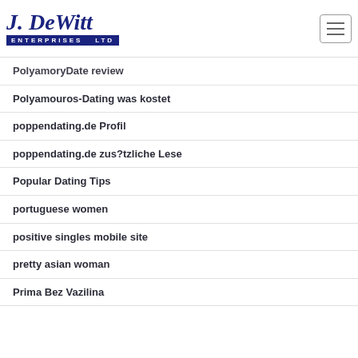J. DeWitt Enterprises Ltd
PolyamoryDate review
Polyamouros-Dating was kostet
poppendating.de Profil
poppendating.de zus?tzliche Lese
Popular Dating Tips
portuguese women
positive singles mobile site
pretty asian woman
Prima Bez Vazilina